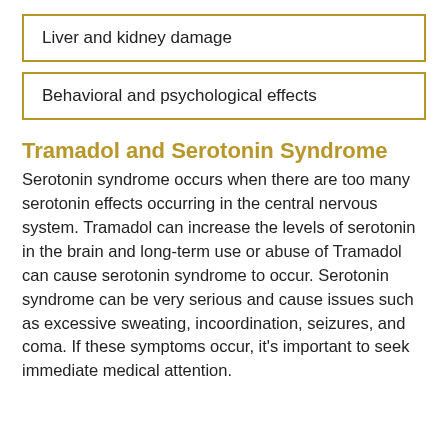Liver and kidney damage
Behavioral and psychological effects
Tramadol and Serotonin Syndrome
Serotonin syndrome occurs when there are too many serotonin effects occurring in the central nervous system. Tramadol can increase the levels of serotonin in the brain and long-term use or abuse of Tramadol can cause serotonin syndrome to occur. Serotonin syndrome can be very serious and cause issues such as excessive sweating, incoordination, seizures, and coma. If these symptoms occur, it's important to seek immediate medical attention.